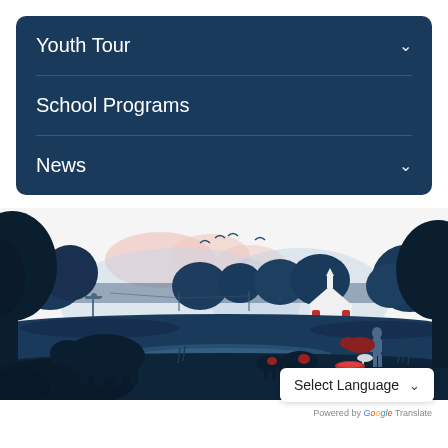Youth Tour
School Programs
News
[Figure (illustration): Rural landscape illustration in dark blue tones showing silhouetted trees, cows near a stream, a white church with red door, birds in flight, an oil pump jack, power lines, and a person standing in the field. Pink/salmon clouds in background.]
Select Language
Powered by Google Translate